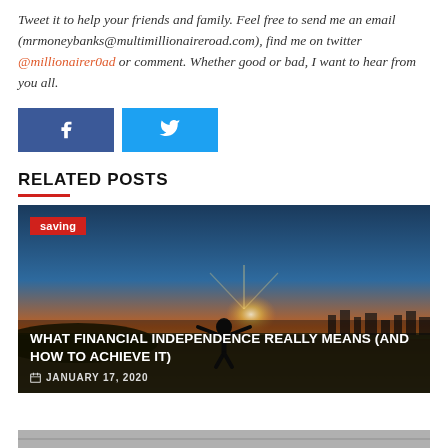Tweet it to help your friends and family. Feel free to send me an email (mrmoneybanks@multimillionaireroad.com), find me on twitter @millionairer0ad or comment. Whether good or bad, I want to hear from you all.
[Figure (other): Facebook and Twitter share buttons]
RELATED POSTS
[Figure (photo): Person standing with arms outstretched at sunset with city skyline, with 'saving' tag overlay and article title 'WHAT FINANCIAL INDEPENDENCE REALLY MEANS (AND HOW TO ACHIEVE IT)' dated JANUARY 17, 2020]
[Figure (photo): Partial bottom strip image, partially cut off]